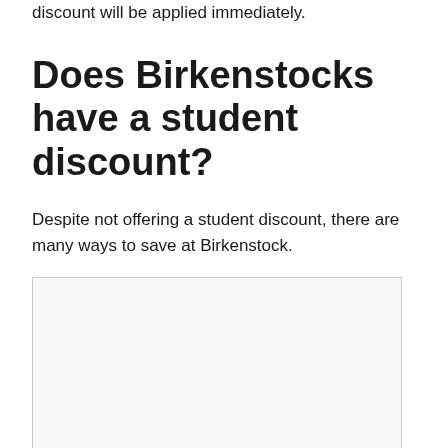discount will be applied immediately.
Does Birkenstocks have a student discount?
Despite not offering a student discount, there are many ways to save at Birkenstock.
[Figure (other): Empty bordered box placeholder image]
How do I get discount codes